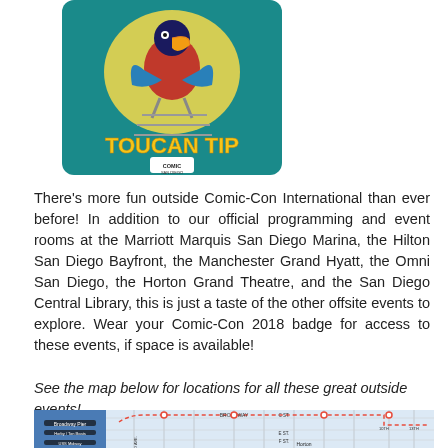[Figure (illustration): Toucan Tip logo for Comic-Con International — a cartoon bird character sitting on a ladder against a teal background with yellow text reading 'TOUCAN TIP' and a San Diego Comic-Con badge logo below.]
There's more fun outside Comic-Con International than ever before! In addition to our official programming and event rooms at the Marriott Marquis San Diego Marina, the Hilton San Diego Bayfront, the Manchester Grand Hyatt, the Omni San Diego, the Horton Grand Theatre, and the San Diego Central Library, this is just a taste of the other offsite events to explore. Wear your Comic-Con 2018 badge for access to these events, if space is available!
See the map below for locations for all these great outside events!
[Figure (map): Street map of downtown San Diego showing Comic-Con venues and offsite event locations, with streets labeled including Broadway, C St, E St, F St, and numbered avenues (2nd through 14th), with red dashed route lines and location markers.]